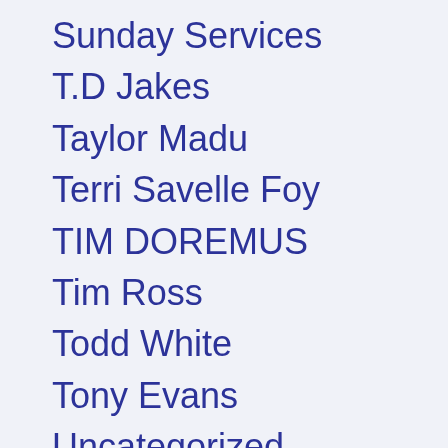Sunday Services
T.D Jakes
Taylor Madu
Terri Savelle Foy
TIM DOREMUS
Tim Ross
Todd White
Tony Evans
Uncategorized
Victoria Osteen
Wendy Prince